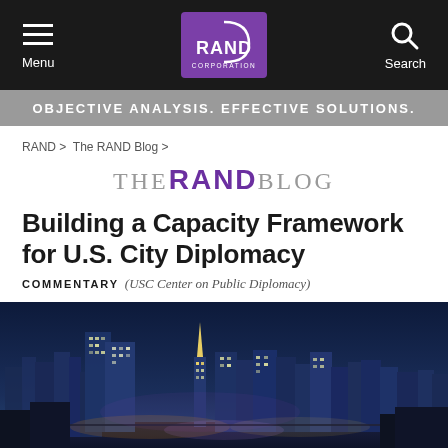Menu | RAND Corporation | Search
OBJECTIVE ANALYSIS. EFFECTIVE SOLUTIONS.
RAND > The RAND Blog >
THE RAND BLOG
Building a Capacity Framework for U.S. City Diplomacy
COMMENTARY (USC Center on Public Diplomacy)
[Figure (photo): Nighttime cityscape of Los Angeles skyline with illuminated skyscrapers against a deep blue sky]